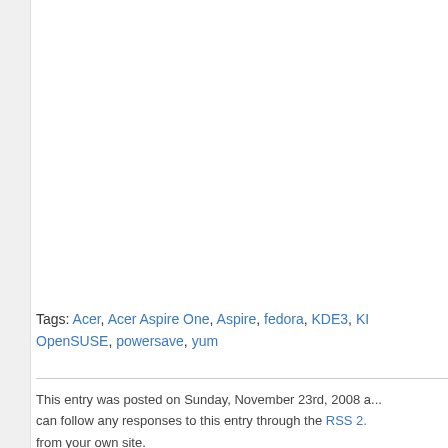Tags: Acer, Acer Aspire One, Aspire, fedora, KDE3, KI... OpenSUSE, powersave, yum
This entry was posted on Sunday, November 23rd, 2008 a... can follow any responses to this entry through the RSS 2... from your own site.